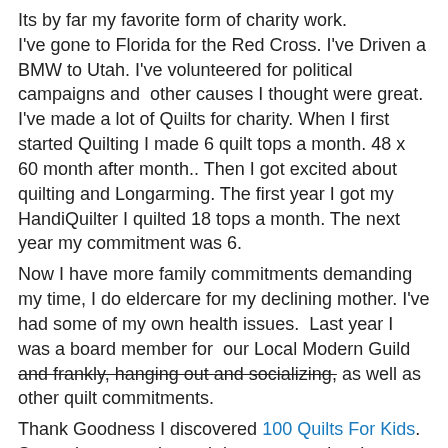Its by far my favorite form of charity work. I've gone to Florida for the Red Cross. I've Driven a BMW to Utah. I've volunteered for political campaigns and other causes I thought were great. I've made a lot of Quilts for charity. When I first started Quilting I made 6 quilt tops a month. 48 x 60 month after month.. Then I got excited about quilting and Longarming. The first year I got my HandiQuilter I quilted 18 tops a month. The next year my commitment was 6.
Now I have more family commitments demanding my time, I do eldercare for my declining mother. I've had some of my own health issues. Last year I was a board member for our Local Modern Guild and frankly, hanging out and socializing, as well as other quilt commitments.
Thank Goodness I discovered 100 Quilts For Kids. Someplace to make and donate to ... plus there are prizes... Last year I donated 3 quilts and won a $25Gift Cert to FatQuarterShop.com.
[Figure (photo): A colorful quilt with pink floral fabric border and patchwork center squares in various bright colors including yellow, pink, blue, and green.]